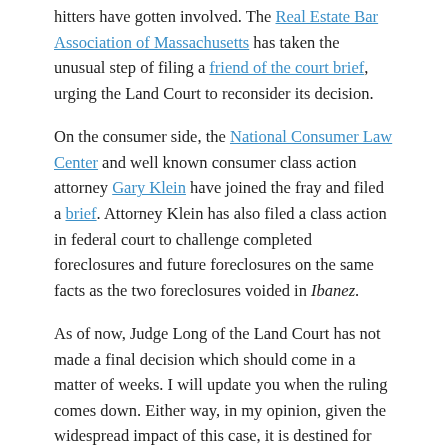hitters have gotten involved. The Real Estate Bar Association of Massachusetts has taken the unusual step of filing a friend of the court brief, urging the Land Court to reconsider its decision.
On the consumer side, the National Consumer Law Center and well known consumer class action attorney Gary Klein have joined the fray and filed a brief. Attorney Klein has also filed a class action in federal court to challenge completed foreclosures and future foreclosures on the same facts as the two foreclosures voided in Ibanez.
As of now, Judge Long of the Land Court has not made a final decision which should come in a matter of weeks. I will update you when the ruling comes down. Either way, in my opinion, given the widespread impact of this case, it is destined for the Massachusetts Supreme Judicial Court. It's hard to say how the SJC will come down on this.